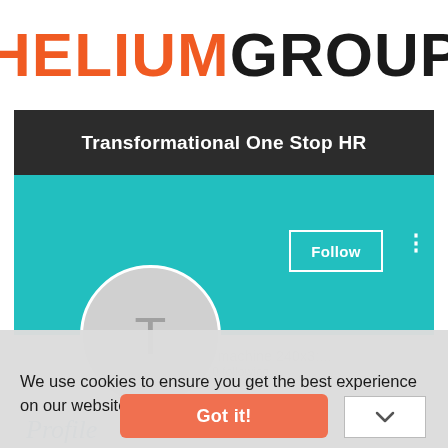[Figure (logo): Helium Group logo: HELIUM in orange bold, GROUP in black bold]
Transformational One Stop HR
[Figure (screenshot): Teal banner with Follow button and three-dot menu, profile avatar circle with T letter]
We use cookies to ensure you get the best experience on our website. Learn more
[Figure (screenshot): Got it! button in salmon/orange color, chevron dropdown on right]
Profile